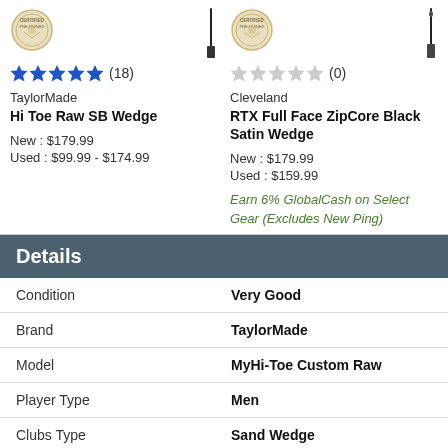[Figure (photo): TaylorMade product listing with certified pre-owned badge, club image, 5-star rating (18 reviews), product name Hi Toe Raw SB Wedge, prices New $179.99, Used $99.99-$174.99]
[Figure (photo): Cleveland product listing with certified pre-owned badge, club image, 0-star rating (0 reviews), product name RTX Full Face ZipCore Black Satin Wedge, prices New $179.99, Used $159.99, promo text Earn 6% GlobalCash on Select Gear (Excludes New Ping)]
Details
|  |  |
| --- | --- |
| Condition | Very Good |
| Brand | TaylorMade |
| Model | MyHi-Toe Custom Raw |
| Player Type | Men |
| Clubs Type | Sand Wedge |
| Bounce | 10° |
| Dexterity | Right Hand |